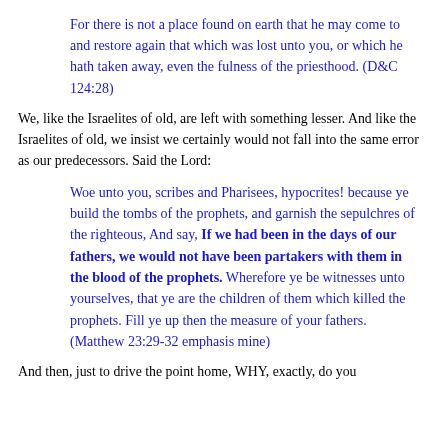And yet our own scriptures tell us WE lost the Fullness of the Priesthood over 174 years ago. It has not returned.
For there is not a place found on earth that he may come to and restore again that which was lost unto you, or which he hath taken away, even the fulness of the priesthood. (D&C 124:28)
We, like the Israelites of old, are left with something lesser. And like the Israelites of old, we insist we certainly would not fall into the same error as our predecessors. Said the Lord:
Woe unto you, scribes and Pharisees, hypocrites! because ye build the tombs of the prophets, and garnish the sepulchres of the righteous, And say, If we had been in the days of our fathers, we would not have been partakers with them in the blood of the prophets. Wherefore ye be witnesses unto yourselves, that ye are the children of them which killed the prophets. Fill ye up then the measure of your fathers. (Matthew 23:29-32 emphasis mine)
And then, just to drive the point home, WHY, exactly, do you